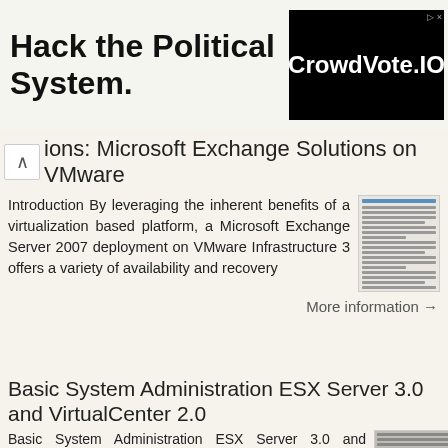[Figure (screenshot): Advertisement banner: 'Hack the Political System.' text on left, CrowdVote.IO logo on black background on right]
ions: Microsoft Exchange Solutions on VMware
Introduction By leveraging the inherent benefits of a virtualization based platform, a Microsoft Exchange Server 2007 deployment on VMware Infrastructure 3 offers a variety of availability and recovery
[Figure (screenshot): Thumbnail image of a document page]
More information →
Basic System Administration ESX Server 3.0 and VirtualCenter 2.0
Basic System Administration ESX Server 3.0 and VirtualCenter 2.0 Basic System Administration Revision: 20090213 Item: VI-ENG-Q206-219 You can find the most up-
[Figure (screenshot): Thumbnail image of Basic System Administration document cover]